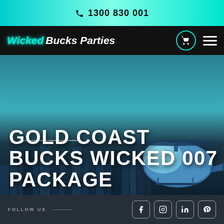☎ 1300 830 001
[Figure (logo): Wicked Bucks Parties logo with cart icon and hamburger menu on black navigation bar]
[Figure (photo): Aerial photo of Gold Coast city skyline with a blue helicopter in the foreground and teal sky]
GOLD COAST BUCKS WICKED 007 PACKAGE
FOLLOW US
[Figure (infographic): Social media icons: Facebook, Instagram, LinkedIn, Pinterest]